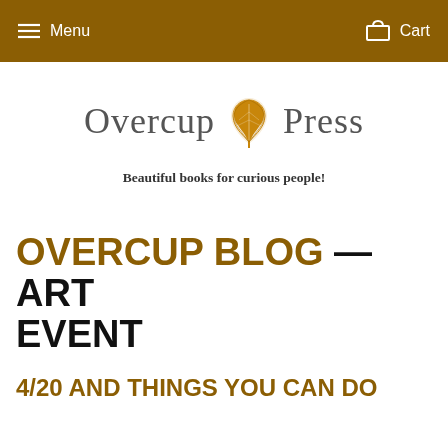Menu  Cart
[Figure (logo): Overcup Press logo with oak leaf illustration between the words 'Overcup' and 'Press' in serif font]
Beautiful books for curious people!
OVERCUP BLOG — ART EVENT
4/20 AND THINGS YOU CAN DO